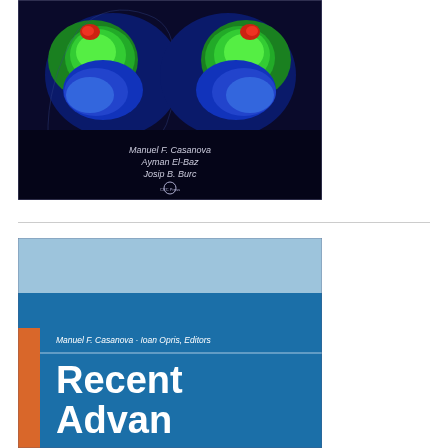[Figure (photo): Book cover with brain scan images (colorful fMRI/PET scans showing two brain views in green, blue, and red). Authors listed: Manuel F. Casanova, Ayman El-Baz, Josip B. Burc. CRC Press logo at bottom.]
[Figure (photo): Book cover with blue and orange design. Editors: Manuel F. Casanova, Ioan Opris, Editors. Title begins: 'Recent Advances on...']